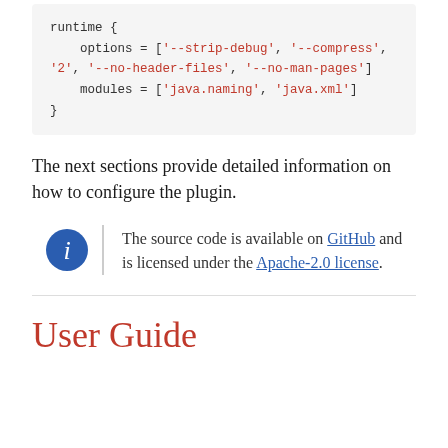runtime {
    options = ['--strip-debug', '--compress', '2', '--no-header-files', '--no-man-pages']
    modules = ['java.naming', 'java.xml']
}
The next sections provide detailed information on how to configure the plugin.
The source code is available on GitHub and is licensed under the Apache-2.0 license.
User Guide